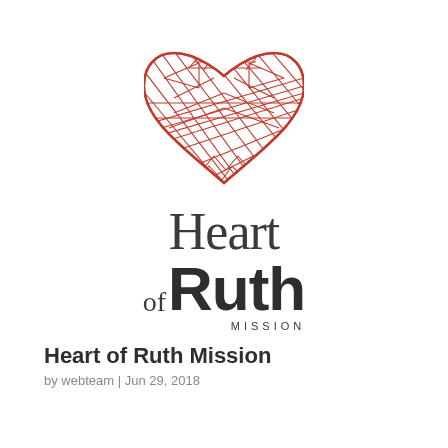[Figure (logo): Heart of Ruth Mission logo: a red decorative heart shape filled with cross-hatched and geometric line patterns, above the text wordmark 'Heart of Ruth MISSION' in serif and bold sans-serif fonts.]
Heart of Ruth Mission
by webteam | Jun 29, 2018